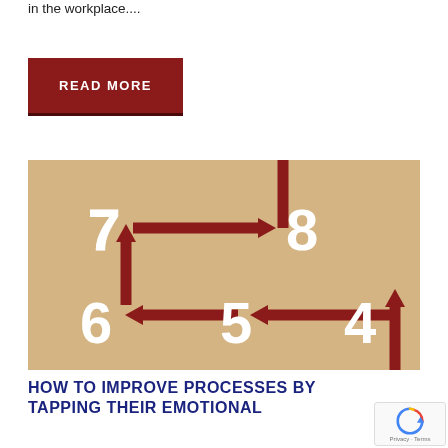in the workplace....
READ MORE
[Figure (infographic): Numbered process flow diagram on a tan/beige background showing steps 4-8 connected by dark red arrows in a rectangular loop. Arrow from 4 goes up along right side, arrows point left from 5 to 6, arrow goes up from 6 to 7, arrow goes right from 7 to 8.]
HOW TO IMPROVE PROCESSES BY TAPPING THEIR EMOTIONAL